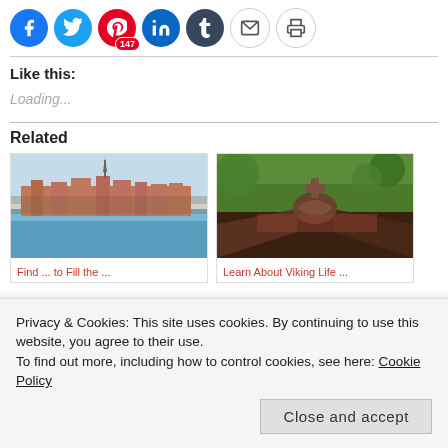[Figure (other): Row of social sharing icon buttons: Facebook (blue circle), Twitter (blue circle), Pinterest (red circle with 147 badge), LinkedIn (blue circle), Tumblr (dark blue circle), Email (grey outline circle), Print (grey outline circle)]
Like this:
Loading...
Related
[Figure (photo): Photo of a waterfront city with a church spire, viewed from the water]
[Figure (photo): Photo of a carved wooden roof detail with green foliage in background]
Privacy & Cookies: This site uses cookies. By continuing to use this website, you agree to their use.
To find out more, including how to control cookies, see here: Cookie Policy
Close and accept